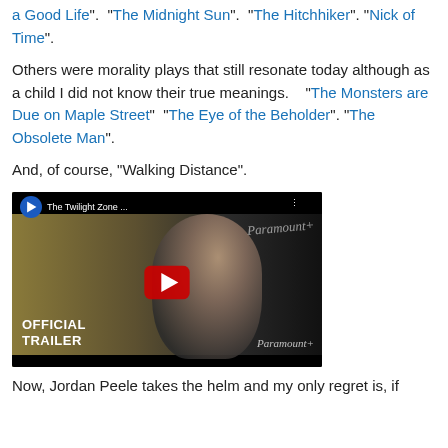a Good Life".  "The Midnight Sun".  "The Hitchhiker". "Nick of Time".
Others were morality plays that still resonate today although as a child I did not know their true meanings.    "The Monsters are Due on Maple Street"  "The Eye of the Beholder". "The Obsolete Man".
And, of course, "Walking Distance".
[Figure (screenshot): YouTube video thumbnail for 'The Twilight Zone ...' showing an official trailer on Paramount+. Features a person in silhouette, red YouTube play button, Paramount+ branding, and text 'OFFICIAL TRAILER'.]
Now, Jordan Peele takes the helm and my only regret is, if